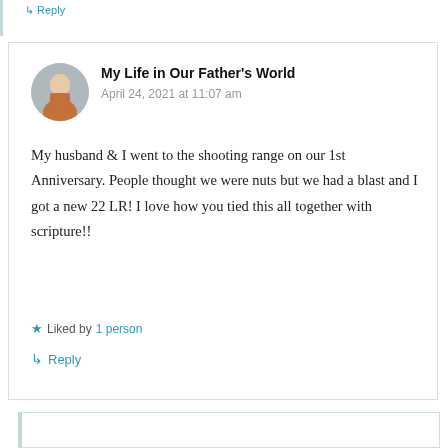Reply
My Life in Our Father's World
April 24, 2021 at 11:07 am
My husband & I went to the shooting range on our 1st Anniversary. People thought we were nuts but we had a blast and I got a new 22 LR! I love how you tied this all together with scripture!!
Liked by 1 person
Reply